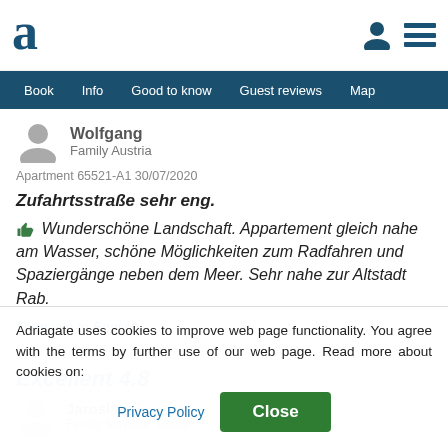Adriagate – navigation header with logo and menu
Book  Info  Good to know  Guest reviews  Map
Wolfgang
Family Austria
Apartment 65521-A1 30/07/2020
Zufahrtsstraße sehr eng.
👍 Wunderschöne Landschaft. Appartement gleich nahe am Wasser, schöne Möglichkeiten zum Radfahren und Spaziergänge neben dem Meer. Sehr nahe zur Altstadt Rab.
Translate to English
Excellent 4.8
Jaroslav
Family Slovakia, Glovar
Adriagate uses cookies to improve web page functionality. You agree with the terms by further use of our web page. Read more about cookies on:
Privacy Policy   Close